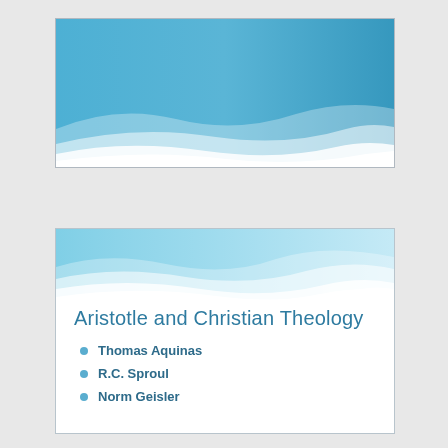[Figure (illustration): Presentation slide with blue gradient background and white wave decorative design]
Aristotle and Christian Theology
Thomas Aquinas
R.C. Sproul
Norm Geisler